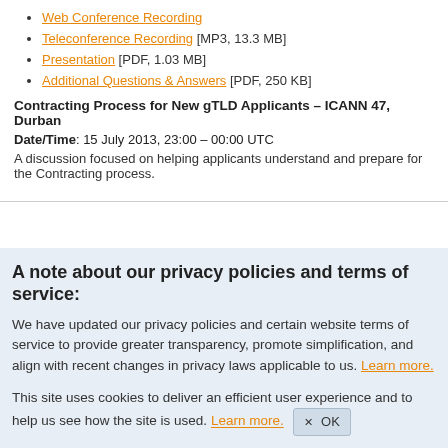Web Conference Recording
Teleconference Recording [MP3, 13.3 MB]
Presentation [PDF, 1.03 MB]
Additional Questions & Answers [PDF, 250 KB]
Contracting Process for New gTLD Applicants – ICANN 47, Durban
Date/Time: 15 July 2013, 23:00 – 00:00 UTC
A discussion focused on helping applicants understand and prepare for the Contracting process.
A note about our privacy policies and terms of service:
We have updated our privacy policies and certain website terms of service to provide greater transparency, promote simplification, and align with recent changes in privacy laws applicable to us. Learn more.
This site uses cookies to deliver an efficient user experience and to help us see how the site is used. Learn more. ✕ OK